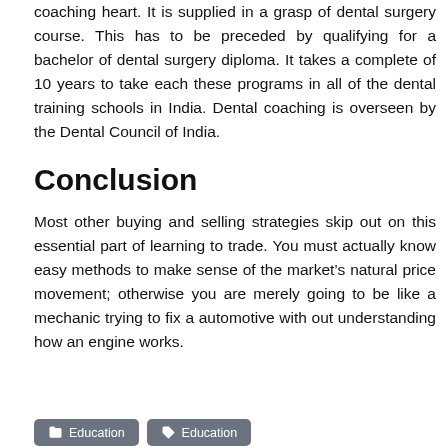coaching heart. It is supplied in a grasp of dental surgery course. This has to be preceded by qualifying for a bachelor of dental surgery diploma. It takes a complete of 10 years to take each these programs in all of the dental training schools in India. Dental coaching is overseen by the Dental Council of India.
Conclusion
Most other buying and selling strategies skip out on this essential part of learning to trade. You must actually know easy methods to make sense of the market’s natural price movement; otherwise you are merely going to be like a mechanic trying to fix a automotive with out understanding how an engine works.
Education   Education